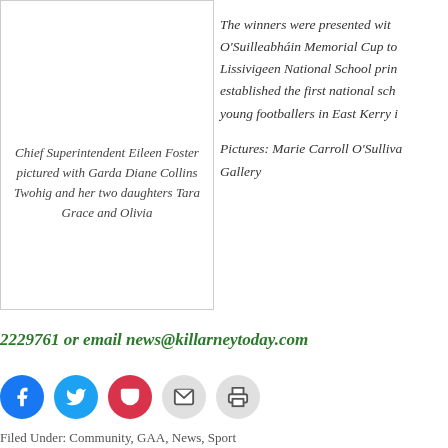[Figure (photo): Photo placeholder of Chief Superintendent Eileen Foster with Garda Diane Collins Twohig and her two daughters]
Chief Superintendent Eileen Foster pictured with Garda Diane Collins Twohig and her two daughters Tara Grace and Olivia
The winners were presented with O'Suilleabháin Memorial Cup to Lissivigeen National School prin established the first national sch young footballers in East Kerry i
Pictures: Marie Carroll O'Sullivan Gallery
2229761 or email news@killarneytoday.com
Filed Under: Community, GAA, News, Sport